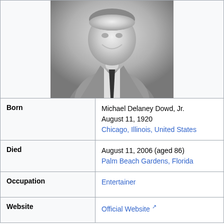[Figure (photo): Black and white portrait photo of a smiling man in a suit and tie]
| Born | Michael Delaney Dowd, Jr.
August 11, 1920
Chicago, Illinois, United States |
| Died | August 11, 2006 (aged 86)
Palm Beach Gardens, Florida |
| Occupation | Entertainer |
| Website | Official Website [external link] |